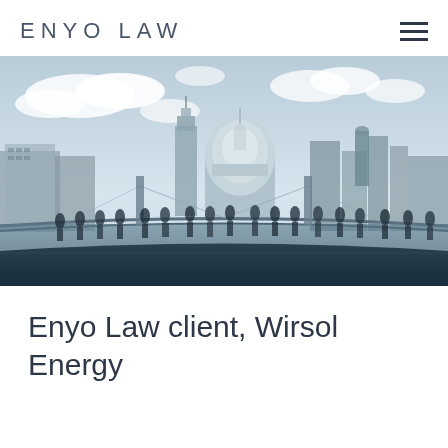ENYO LAW
[Figure (photo): Aerial photograph of people on the Millennium Bridge in London with St Paul's Cathedral dome and city skyline in the background under a cloudy sky]
Enyo Law client, Wirsol Energy